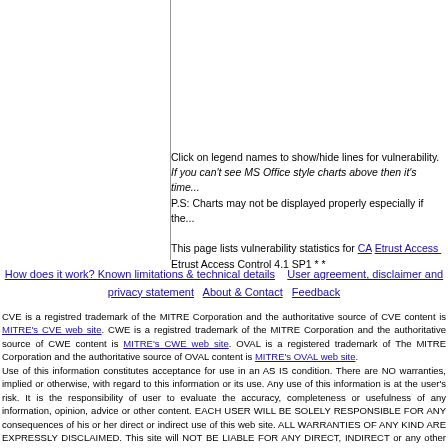Click on legend names to show/hide lines for vulnerability. If you can't see MS Office style charts above then it's time... P.S: Charts may not be displayed properly especially if the...
This page lists vulnerability statistics for CA Etrust Access Control Etrust Access Control 4.1 SP1 * *
How does it work? Known limitations & technical details   User agreement, disclaimer and privacy statement   About & Contact   Feedback
CVE is a registred trademark of the MITRE Corporation and the authoritative source of CVE content is MITRE's CVE web site. CWE is a registred trademark of the MITRE Corporation and the authoritative source of CWE content is MITRE's CWE web site. OVAL is a registered trademark of The MITRE Corporation and the authoritative source of OVAL content is MITRE's OVAL web site. Use of this information constitutes acceptance for use in an AS IS condition. There are NO warranties, implied or otherwise, with regard to this information or its use. Any use of this information is at the user's risk. It is the responsibility of user to evaluate the accuracy, completeness or usefulness of any information, opinion, advice or other content. EACH USER WILL BE SOLELY RESPONSIBLE FOR ANY consequences of his or her direct or indirect use of this web site. ALL WARRANTIES OF ANY KIND ARE EXPRESSLY DISCLAIMED. This site will NOT BE LIABLE FOR ANY DIRECT, INDIRECT or any other kind of loss.